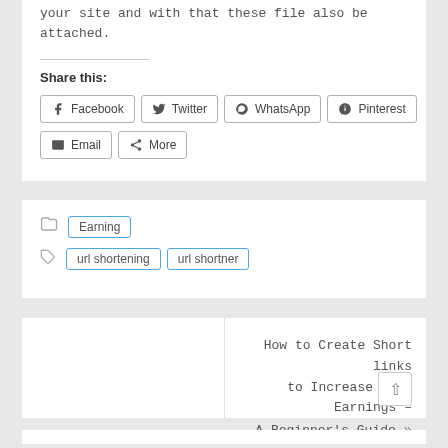your site and with that these file also be attached.
Share this:
[Figure (infographic): Row of social share buttons: Facebook, Twitter, WhatsApp, Pinterest, Email, More]
Earning (category tag)
url shortening (tag)
url shortner (tag)
How to Create Short links to Increase your Earnings – A Beginner's Guide »